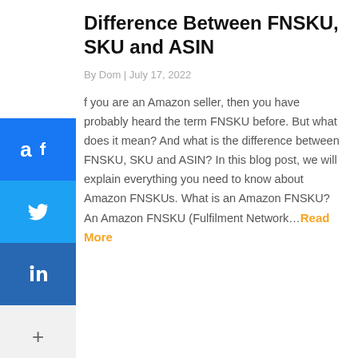Difference Between FNSKU, SKU and ASIN
By Dom | July 17, 2022
If you are an Amazon seller, then you have probably heard the term FNSKU before. But what does it mean? And what is the difference between FNSKU, SKU and ASIN? In this blog post, we will explain everything you need to know about Amazon FNSKUs. What is an Amazon FNSKU? An Amazon FNSKU (Fulfilment Network…Read More